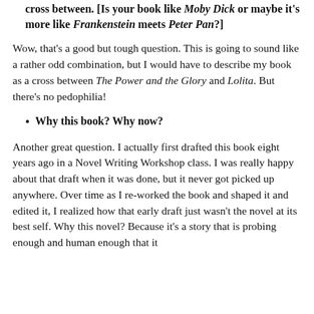cross between. [Is your book like Moby Dick or maybe it's more like Frankenstein meets Peter Pan?]
Wow, that's a good but tough question. This is going to sound like a rather odd combination, but I would have to describe my book as a cross between The Power and the Glory and Lolita. But there's no pedophilia!
Why this book? Why now?
Another great question. I actually first drafted this book eight years ago in a Novel Writing Workshop class. I was really happy about that draft when it was done, but it never got picked up anywhere. Over time as I re-worked the book and shaped it and edited it, I realized how that early draft just wasn't the novel at its best self. Why this novel? Because it's a story that is probing enough and human enough that it